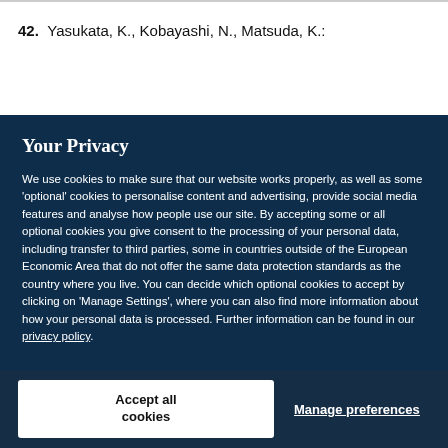42. Yasukata, K., Kobayashi, N., Matsuda, K.:
Your Privacy
We use cookies to make sure that our website works properly, as well as some 'optional' cookies to personalise content and advertising, provide social media features and analyse how people use our site. By accepting some or all optional cookies you give consent to the processing of your personal data, including transfer to third parties, some in countries outside of the European Economic Area that do not offer the same data protection standards as the country where you live. You can decide which optional cookies to accept by clicking on 'Manage Settings', where you can also find more information about how your personal data is processed. Further information can be found in our privacy policy.
Accept all cookies
Manage preferences